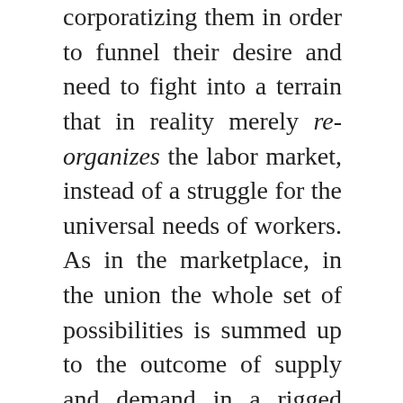corporatizing them in order to funnel their desire and need to fight into a terrain that in reality merely re-organizes the labor market, instead of a struggle for the universal needs of workers. As in the marketplace, in the union the whole set of possibilities is summed up to the outcome of supply and demand in a rigged game.

That is why the whole trade union experience of the last century can only be demoralizing: because trade unions are no longer tools for organizing workers as a class. And without class